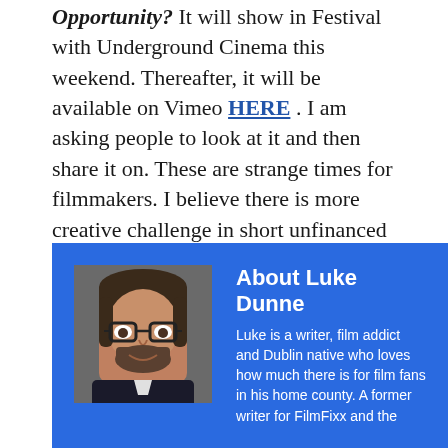Opportunity?  It will show in Festival with Underground Cinema this weekend.  Thereafter, it will be available on Vimeo HERE . I am asking people to look at it and then share it on. These are strange times for filmmakers. I believe there is more creative challenge in short unfinanced film – it is someone's soul work without the pressure of having to please financial backers – there's no limits, apart from the limit of distribution.  To keep imagination alive and moving, we need to pass on eachother's work, like a co-operative chain for art.
[Figure (photo): Headshot photo of Luke Dunne, a man with glasses and a beard, in a dark jacket]
About Luke Dunne
Luke is a writer, film addict and Dublin native who loves how much there is for film fans in his home county. A former writer for FilmFixx and the